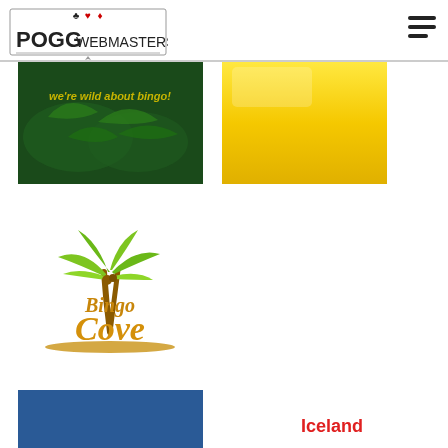[Figure (logo): POGG Webmasters logo with card suit symbols]
[Figure (logo): Green bingo banner with text 'we're wild about bingo!']
[Figure (logo): Yellow banner logo]
[Figure (logo): Bingo Cove logo with palm tree illustration]
[Figure (logo): Bingo Dome dark blue banner with star bingodome.co.uk star]
[Figure (logo): Iceland Bingo logo in gold and red]